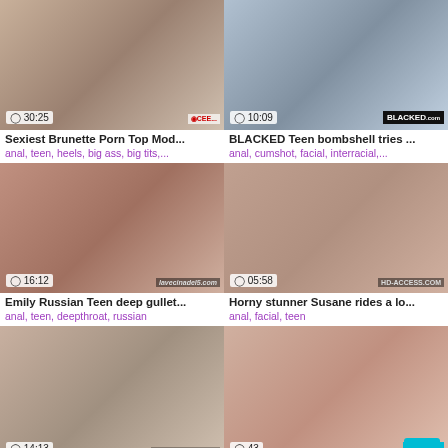[Figure (screenshot): Video thumbnail 1 with duration 30:25]
Sexiest Brunette Porn Top Mod...
anal, teen, heels, big ass, big tits,...
[Figure (screenshot): Video thumbnail 2 with duration 10:09, BLACKED watermark]
BLACKED Teen bombshell tries ...
anal, cumshot, facial, interracial,...
[Figure (screenshot): Video thumbnail 3 with duration 16:12, lavecinadel5.com watermark]
Emily Russian Teen deep gullet...
anal, teen, deepthroat, russian
[Figure (screenshot): Video thumbnail 4 with duration 05:58, HD-ACCESS.COM watermark]
Horny stunner Susane rides a lo...
anal, facial, teen
[Figure (screenshot): Video thumbnail 5 with duration 14:13]
Fucked my friend's sleepy wifey
[Figure (screenshot): Video thumbnail 6 with duration 43, LEGAP watermark]
The early days of anal sex clim...